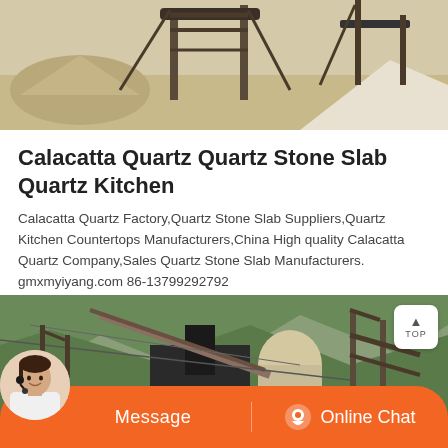[Figure (photo): Industrial stone crushing/quarrying machinery at a mining site with sandy ground and conveyor structures]
Calacatta Quartz Quartz Stone Slab Quartz Kitchen
Calacatta Quartz Factory,Quartz Stone Slab Suppliers,Quartz Kitchen Countertops Manufacturers,China High quality Calacatta Quartz Company,Sales Quartz Stone Slab Manufacturers. gmxmyiyang.com 86-13799292792
[Figure (photo): Industrial quarry or stone processing facility with conveyor belts and machinery against green mountainous background]